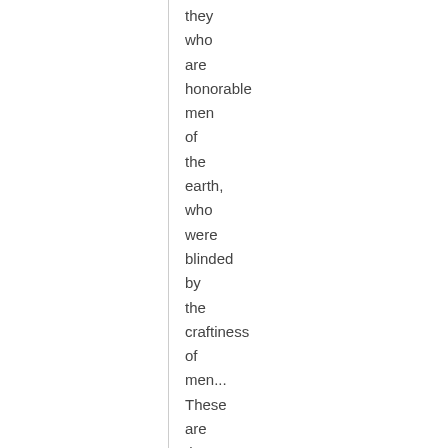they who are honorable men of the earth, who were blinded by the craftiness of men... These are they who are not valiant in the testimony of